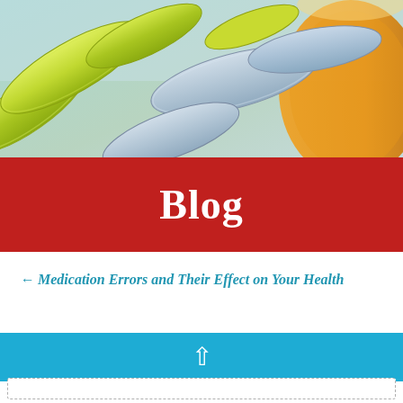[Figure (photo): Close-up photo of colorful oval/capsule-shaped pills (green, blue-grey, yellow) spilling from an orange prescription pill bottle, on a light blue background.]
Blog
← Medication Errors and Their Effect on Your Health
[Figure (other): Blue horizontal bar with a white upward arrow icon, serving as a back-to-top button.]